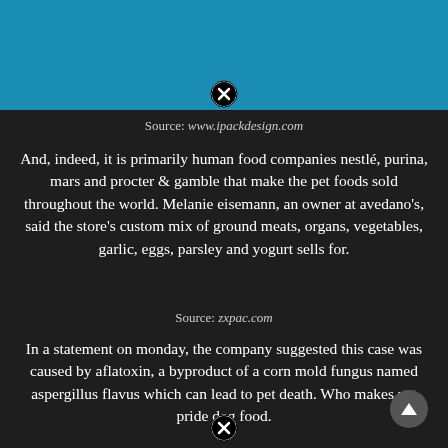[Figure (photo): Teal/blue background image, partially visible at top of page with a close (X) button overlay]
Source: www.ipackdesign.com
And, indeed, it is primarily human food companies nestlé, purina, mars and procter & gamble that make the pet foods sold throughout the world. Melanie eisemann, an owner at avedano's, said the store's custom mix of ground meats, organs, vegetables, garlic, eggs, parsley and yogurt sells for.
Source: zxpac.com
In a statement on monday, the company suggested this case was caused by aflatoxin, a byproduct of a corn mold fungus named aspergillus flavus which can lead to pet death. Who makes pet pride dog food.